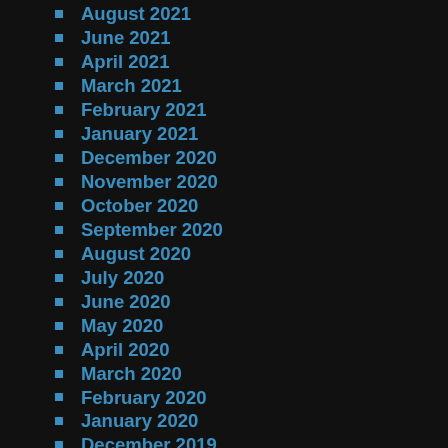August 2021
June 2021
April 2021
March 2021
February 2021
January 2021
December 2020
November 2020
October 2020
September 2020
August 2020
July 2020
June 2020
May 2020
April 2020
March 2020
February 2020
January 2020
December 2019
November 2019
October 2019
September 2019